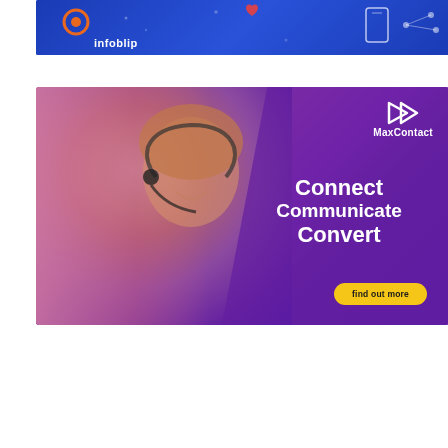[Figure (illustration): Infobip advertisement banner with blue background, brand logo with orange circular icon and 'infoblip' text, and decorative geometric shapes]
[Figure (photo): MaxContact advertisement showing a smiling woman with a headset against a pink-to-purple gradient background. Logo shows 'MaxContact' with a play/forward icon. Text reads 'Connect Communicate Convert' with a yellow 'find out more' button.]